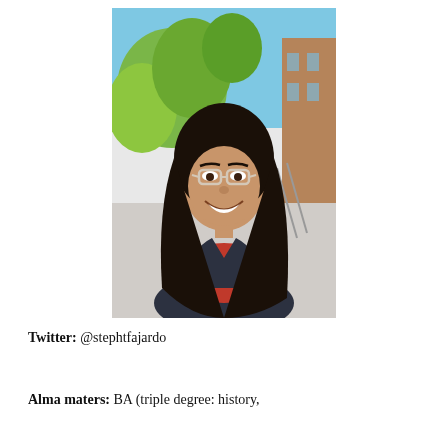[Figure (photo): Smiling young woman with long dark hair and clear-framed glasses, wearing a red top and dark blazer, standing outdoors with green trees and a brick building in the background.]
Twitter: @stephtfajardo
Alma maters: BA (triple degree: history,